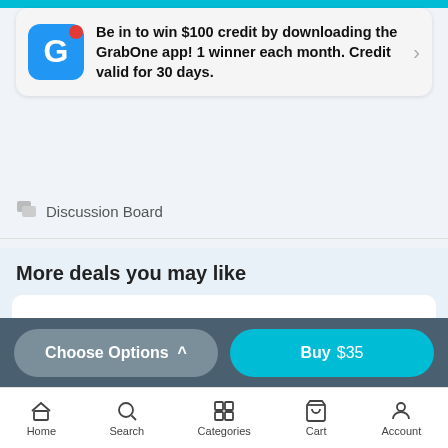Be in to win $100 credit by downloading the GrabOne app! 1 winner each month. Credit valid for 30 days.
Discussion Board
More deals you may like
[Figure (photo): Dinosaur figurines (T-Rex and Triceratops) on display in a white card]
Choose Options ^
Buy $35
Home  Search  Categories  Cart  Account